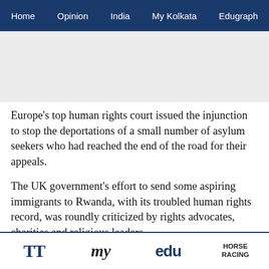Home   Opinion   India   My Kolkata   Edugraph
[Figure (other): Advertisement placeholder banner (gray rectangle)]
Europe's top human rights court issued the injunction to stop the deportations of a small number of asylum seekers who had reached the end of the road for their appeals.
The UK government's effort to send some aspiring immigrants to Rwanda, with its troubled human rights record, was roundly criticized by rights advocates, charities and religious leaders.
By contrast, the British government attempted to argue
TT   my   edu   HORSE RACING